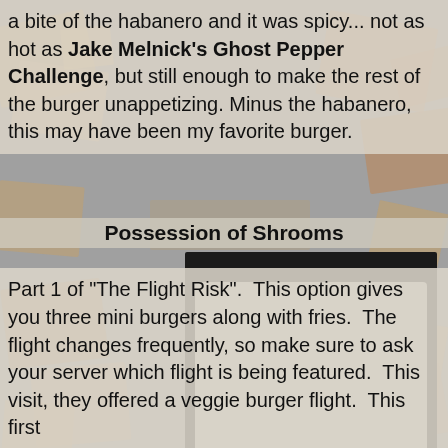a bite of the habanero and it was spicy... not as hot as Jake Melnick's Ghost Pepper Challenge, but still enough to make the rest of the burger unappetizing. Minus the habanero, this may have been my favorite burger.
Possession of Shrooms
[Figure (photo): A close-up photo of a burger called 'Possession of Shrooms', served on a foil tray. The burger has a dark charred mushroom or black bun element on top, with white sauce and toppings visible between the layers.]
Part 1 of "The Flight Risk".  This option gives you three mini burgers along with fries.  The flight changes frequently, so make sure to ask your server which flight is being featured.  This visit, they offered a veggie burger flight.  This first